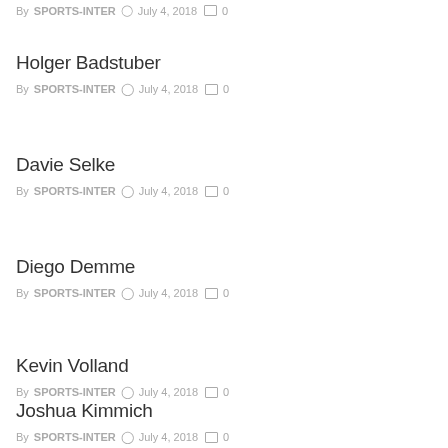By SPORTS-INTER  July 4, 2018  0
Holger Badstuber
By SPORTS-INTER  July 4, 2018  0
Davie Selke
By SPORTS-INTER  July 4, 2018  0
Diego Demme
By SPORTS-INTER  July 4, 2018  0
Kevin Volland
By SPORTS-INTER  July 4, 2018  0
Joshua Kimmich
By SPORTS-INTER  July 4, 2018  0